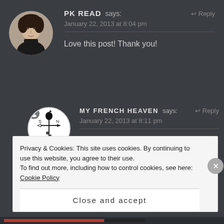[Figure (photo): Circular avatar photo of a woman with dark hair against a dark background]
PK READ says:
Reply
January 22, 2013 at 8:04 pm
Love this post! Thank you!
[Figure (illustration): Circular avatar with a weather vane illustration on white background, with small user icon overlay]
MY FRENCH HEAVEN says: Reply
January 22, 2013 at 8:11 pm
You're most welcome PK!
Privacy & Cookies: This site uses cookies. By continuing to use this website, you agree to their use.
To find out more, including how to control cookies, see here: Cookie Policy
Close and accept